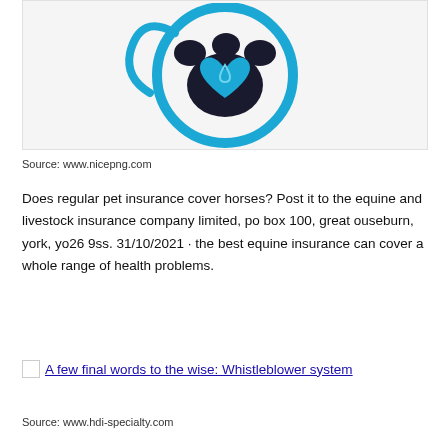[Figure (logo): Partial view of a pet insurance logo: a blue circular stethoscope outline surrounding a dark paw print with a blue heart shape in the center containing a water drop.]
Source: www.nicepng.com
Does regular pet insurance cover horses? Post it to the equine and livestock insurance company limited, po box 100, great ouseburn, york, yo26 9ss. 31/10/2021 · the best equine insurance can cover a whole range of health problems.
[Figure (illustration): Broken image placeholder followed by a hyperlink: A few final words to the wise: Whistleblower system]
Source: www.hdi-specialty.com